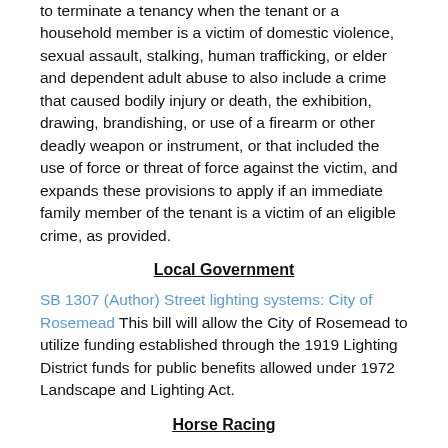to terminate a tenancy when the tenant or a household member is a victim of domestic violence, sexual assault, stalking, human trafficking, or elder and dependent adult abuse to also include a crime that caused bodily injury or death, the exhibition, drawing, brandishing, or use of a firearm or other deadly weapon or instrument, or that included the use of force or threat of force against the victim, and expands these provisions to apply if an immediate family member of the tenant is a victim of an eligible crime, as provided.
Local Government
SB 1307 (Author) Street lighting systems: City of Rosemead This bill will allow the City of Rosemead to utilize funding established through the 1919 Lighting District funds for public benefits allowed under 1972 Landscape and Lighting Act.
Horse Racing
SB 800 (Authors) Horse racing: veterinary medical records: racehorse fatalities: racehorse drug testing. - Authorizes veterinarians to make available the entire medical records